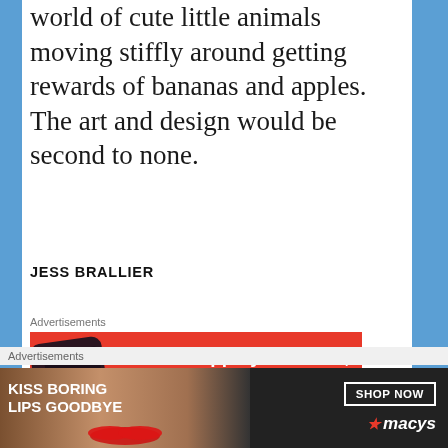world of cute little animals moving stiffly around getting rewards of bananas and apples. The art and design would be second to none.
JESS BRALLIER
Advertisements
[Figure (screenshot): Advertisement: An app by listeners, for listeners — red background with phone image and text on right side]
Advertisements
[Figure (photo): Advertisement: KISS BORING LIPS GOODBYE — Macy's ad with woman's face and red lips, SHOP NOW button on right]